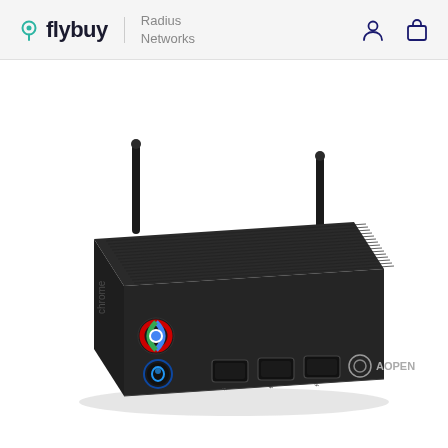flybuy | Radius Networks
[Figure (photo): AOpen Chromebox mini PC with two WiFi antennas, Chrome OS logo on the left side, three USB ports and AOpen logo on the front face, matte black aluminum chassis with ribbed top.]